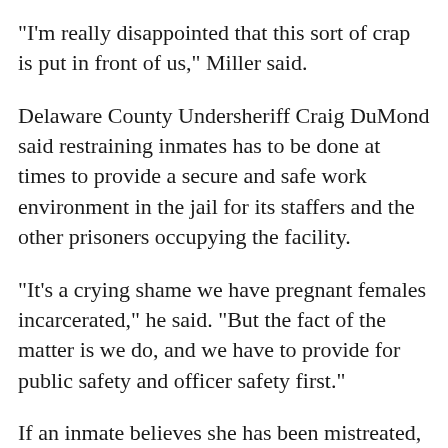"I'm really disappointed that this sort of crap is put in front of us," Miller said.
Delaware County Undersheriff Craig DuMond said restraining inmates has to be done at times to provide a secure and safe work environment in the jail for its staffers and the other prisoners occupying the facility.
"It's a crying shame we have pregnant females incarcerated," he said. "But the fact of the matter is we do, and we have to provide for public safety and officer safety first."
If an inmate believes she has been mistreated, DuMond noted, there are avenues for her to register complaints, such as filing reports with the state Commission on Corrections.
"I don't think there is any sheriff out there who is going